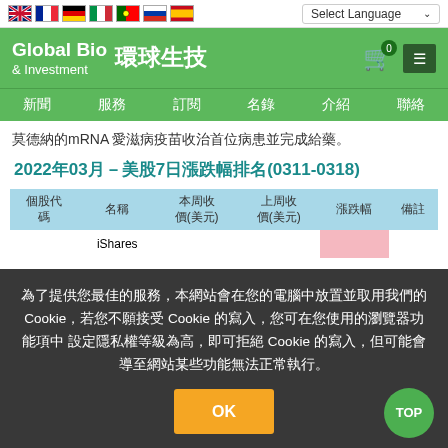Select Language
Global Bio & Investment 環球生技
新聞 服務 訂閱 名錄 介紹 聯絡
莫德納的mRNA 愛滋病疫苗收治首位病患並完成給藥。
2022年03月－美股7日漲跌幅排名(0311-0318)
| 個股代碼 | 名稱 | 本周收價(美元) | 上周收價(美元) | 漲跌幅 | 備註 |
| --- | --- | --- | --- | --- | --- |
|  | iShares |  |  |  |  |
為了提供您最佳的服務，本網站會在您的電腦中放置並取用我們的 Cookie，若您不願接受 Cookie 的寫入，您可在您使用的瀏覽器功能項中 設定隱私權等級為高，即可拒絕 Cookie 的寫入，但可能會導至網站某些功能無法正常執行。
OK
TOP